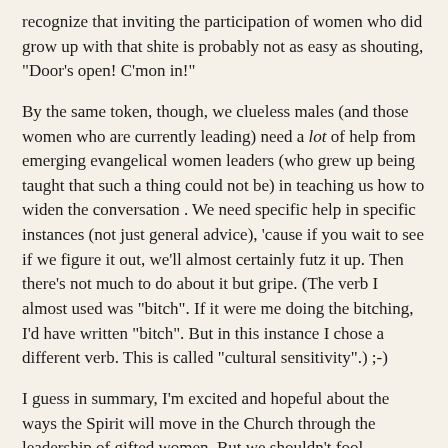recognize that inviting the participation of women who did grow up with that shite is probably not as easy as shouting, "Door's open! C'mon in!"
By the same token, though, we clueless males (and those women who are currently leading) need a lot of help from emerging evangelical women leaders (who grew up being taught that such a thing could not be) in teaching us how to widen the conversation . We need specific help in specific instances (not just general advice), 'cause if you wait to see if we figure it out, we'll almost certainly futz it up. Then there's not much to do about it but gripe. (The verb I almost used was "bitch". If it were me doing the bitching, I'd have written "bitch". But in this instance I chose a different verb. This is called "cultural sensitivity".) ;-)
I guess in summary, I'm excited and hopeful about the ways the Spirit will move in the Church through the leadership of gifted women. But we shouldn't fool ourselves that we're there already. To facilitate this blessing, we need to help each other, we need to extend each other grace, and we need to try not to piss each other off. In that respect, I hope this post has not been counterproductive. :-D